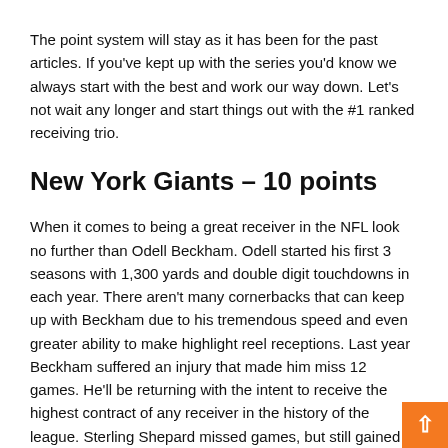The point system will stay as it has been for the past articles. If you've kept up with the series you'd know we always start with the best and work our way down. Let's not wait any longer and start things out with the #1 ranked receiving trio.
New York Giants – 10 points
When it comes to being a great receiver in the NFL look no further than Odell Beckham. Odell started his first 3 seasons with 1,300 yards and double digit touchdowns in each year. There aren't many cornerbacks that can keep up with Beckham due to his tremendous speed and even greater ability to make highlight reel receptions. Last year Beckham suffered an injury that made him miss 12 games. He'll be returning with the intent to receive the highest contract of any receiver in the history of the league. Sterling Shepard missed games, but still gained over 700 yards in the absence of